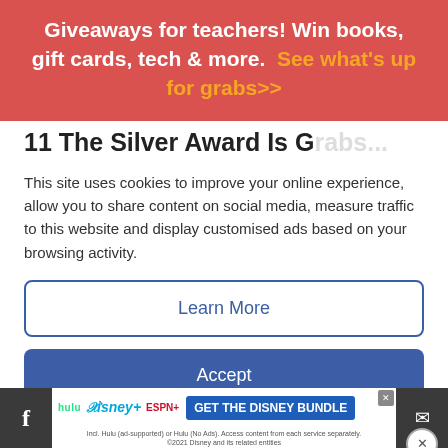Giveaways for teachers! Win books, gift cards, tech & more.  See what's up for grabs>>
11 The Silver Award Is G...
This site uses cookies to improve your online experience, allow you to share content on social media, measure traffic to this website and display customised ads based on your browsing activity.
Learn More
Accept
[Figure (screenshot): Partial view of a blue-themed editorial image with stars and a person on a ladder, partially obscured by the cookie consent overlay]
[Figure (screenshot): Disney Bundle advertisement banner showing Hulu, Disney+, ESPN+ logos and 'GET THE DISNEY BUNDLE' CTA button with fine print below]